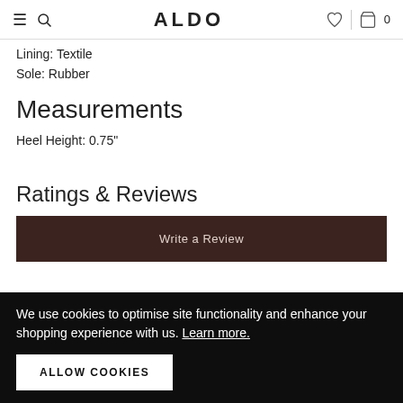ALDO
Lining: Textile
Sole: Rubber
Measurements
Heel Height: 0.75"
Ratings & Reviews
Write a Review
We use cookies to optimise site functionality and enhance your shopping experience with us. Learn more.
ALLOW COOKIES